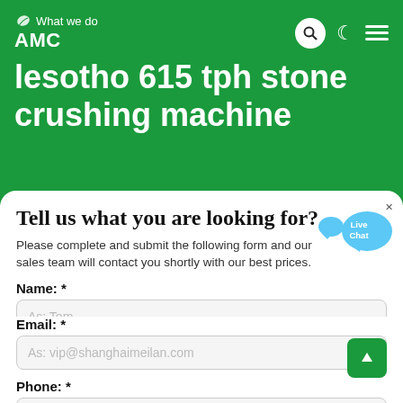What we do
AMC
lesotho 615 tph stone crushing machine
Tell us what you are looking for?
Please complete and submit the following form and our sales team will contact you shortly with our best prices.
Name: *
As: Tom
Email: *
As: vip@shanghaimeilan.com
Phone: *
With Country Code